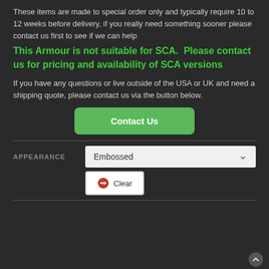These items are made to special order only and typically require 10 to 12 weeks before delivery, if you really need something sooner please contact us first to see if we can help
This Armour is not suitable for SCA.  Please contact us for pricing and availability of SCA versions
If you have any questions or live outside of the USA or UK and need a shipping quote, please contact us via the button below.
[Figure (other): Green 'Contact Us' button]
APPEARANCE — Embossed (dropdown)
[Figure (other): Clear button with red X icon]